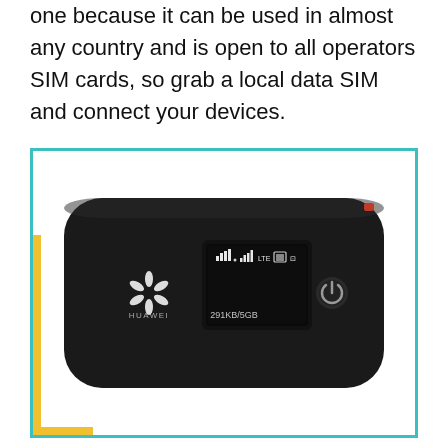one because it can be used in almost any country and is open to all operators SIM cards, so grab a local data SIM and connect your devices.
[Figure (photo): Photo of a Huawei mobile Wi-Fi hotspot device (black, rounded rectangular shape) with a small display screen showing status icons and '291KB/5GB', the Huawei logo on the left side, and a power button on the right side. The device is displayed within a teal/cyan bordered frame with a yellow corner accent (L-shape) in the bottom-left, on a white background.]